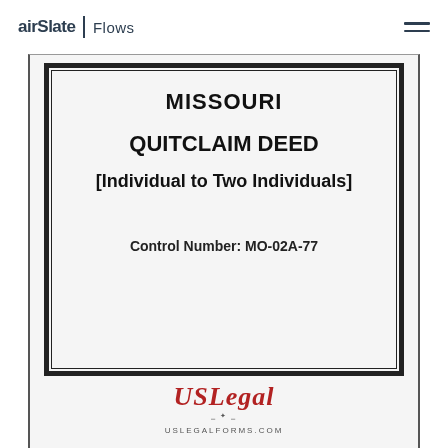airSlate | Flows
MISSOURI
QUITCLAIM DEED
[Individual to Two Individuals]
Control Number: MO-02A-77
[Figure (logo): USLegal logo with eagle emblem and text USLEGALFORMS.COM]